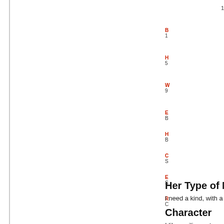1
B
1
H
5
W
9
E
B
H
B
C
S
E
S
R
C
Her Type of Man
I need a kind, with a good sens
Character
I like smiling ... to people, eventing everything easier or look at the